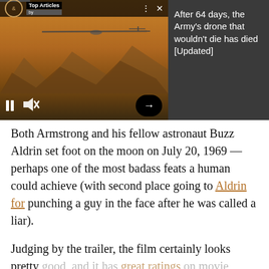[Figure (screenshot): Video player panel showing a drone flying over mountains at golden hour, with play controls (pause button, mute button, forward arrow). Top bar shows 'Top Articles by' label with logo and close/menu icons.]
After 64 days, the Army's drone that wouldn't die has died [Updated]
Both Armstrong and his fellow astronaut Buzz Aldrin set foot on the moon on July 20, 1969 — perhaps one of the most badass feats a human could achieve (with second place going to Aldrin for punching a guy in the face after he was called a liar).
Judging by the trailer, the film certainly looks pretty good, and it has great ratings on movie review site Rotten Tomatoes.